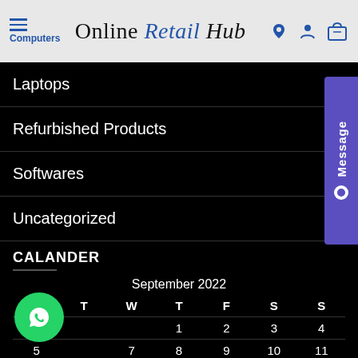Online Retail Hub — Computers
Laptops
Refurbished Products
Softwares
Uncategorized
CALANDER
| M | T | W | T | F | S | S |
| --- | --- | --- | --- | --- | --- | --- |
|  |  |  | 1 | 2 | 3 | 4 |
| 5 |  | 7 | 8 | 9 | 10 | 11 |
| 12 | 13 | 14 | 15 | 16 | 17 | 18 |